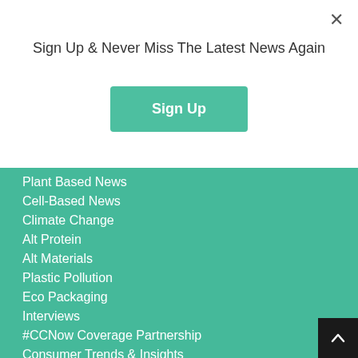×
Sign Up & Never Miss The Latest News Again
Sign Up
Plant Based News
Cell-Based News
Climate Change
Alt Protein
Alt Materials
Plastic Pollution
Eco Packaging
Interviews
#CCNow Coverage Partnership
Consumer Trends & Insights
Hong Kong
China
Singapore